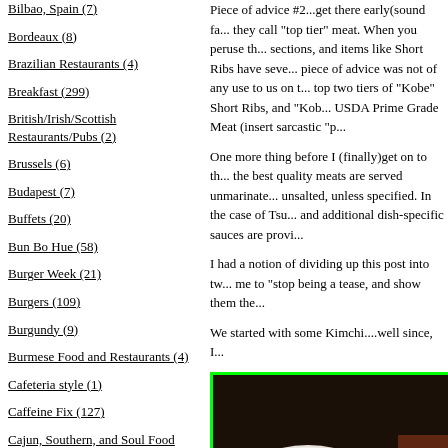Bilbao, Spain (7)
Bordeaux (8)
Brazilian Restaurants (4)
Breakfast (299)
British/Irish/Scottish Restaurants/Pubs (2)
Brussels (6)
Budapest (7)
Buffets (20)
Bun Bo Hue (58)
Burger Week (21)
Burgers (109)
Burgundy (9)
Burmese Food and Restaurants (4)
Cafeteria style (1)
Caffeine Fix (127)
Cajun, Southern, and Soul Food (33)
Cambodia (14)
Piece of advice #2...get there early(sound fa... they call "top tier" meat. When you peruse th... sections, and items like Short Ribs have seve... piece of advice was not of any use to us on t... top two tiers of "Kobe" Short Ribs, and "Kob... USDA Prime Grade Meat (insert sarcastic "p...
One more thing before I (finally)get on to th... the best quality meats are served unmarinate... unsalted, unless specified. In the case of Tsu... and additional dish-specific sauces are provi...
I had a notion of dividing up this post into tw... me to "stop being a tease, and show them the...
We started with some Kimchi....well since, I...
[Figure (photo): A white bowl containing what appears to be Kimchi or a Korean food dish with orange/red sauce, close-up photo with green border]